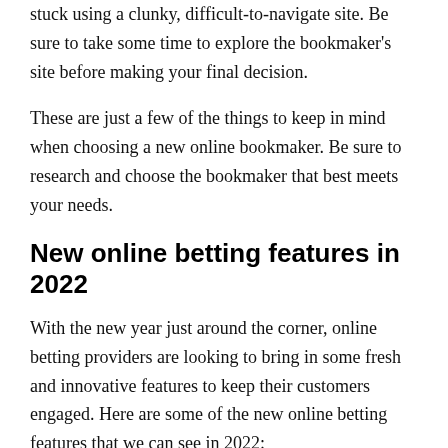stuck using a clunky, difficult-to-navigate site. Be sure to take some time to explore the bookmaker's site before making your final decision.
These are just a few of the things to keep in mind when choosing a new online bookmaker. Be sure to research and choose the bookmaker that best meets your needs.
New online betting features in 2022
With the new year just around the corner, online betting providers are looking to bring in some fresh and innovative features to keep their customers engaged. Here are some of the new online betting features that we can see in 2022:
Virtual Reality (VR) Technology: This cutting-edge technology will allow bettors to experience live sporting events in a completely immersive environment. You'll feel